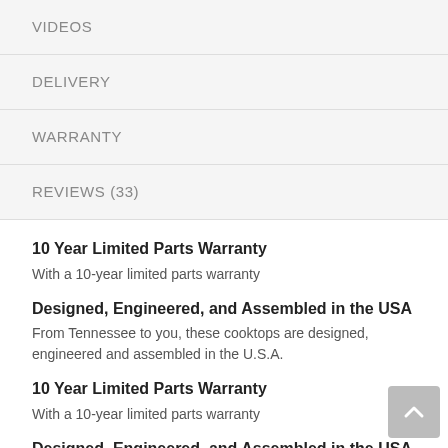VIDEOS
DELIVERY
WARRANTY
REVIEWS (33)
10 Year Limited Parts Warranty
With a 10-year limited parts warranty
Designed, Engineered, and Assembled in the USA
From Tennessee to you, these cooktops are designed, engineered and assembled in the U.S.A.
10 Year Limited Parts Warranty
With a 10-year limited parts warranty
Designed, Engineered, and Assembled in the USA
From Tennessee to you, these cooktops are